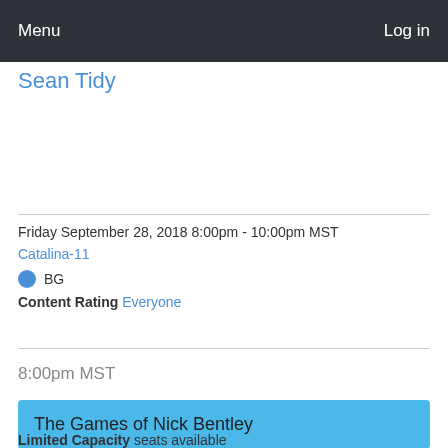Menu   Log in
Sean Tidy
Friday September 28, 2018 8:00pm - 10:00pm MST
Catalina-11
BG
Content Rating Everyone
8:00pm MST
The Games of Nick Bentley
Limited Capacity seats available